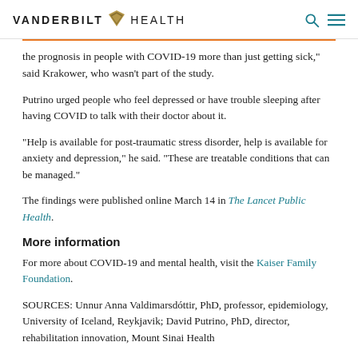VANDERBILT HEALTH
the prognosis in people with COVID-19 more than just getting sick," said Krakower, who wasn't part of the study.
Putrino urged people who feel depressed or have trouble sleeping after having COVID to talk with their doctor about it.
"Help is available for post-traumatic stress disorder, help is available for anxiety and depression," he said. "These are treatable conditions that can be managed."
The findings were published online March 14 in The Lancet Public Health.
More information
For more about COVID-19 and mental health, visit the Kaiser Family Foundation.
SOURCES: Unnur Anna Valdimarsdóttir, PhD, professor, epidemiology, University of Iceland, Reykjavik; David Putrino, PhD, director, rehabilitation innovation, Mount Sinai Health